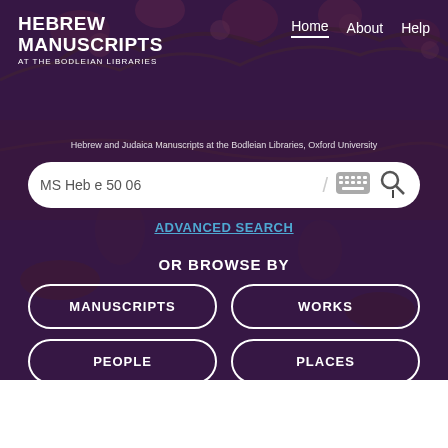[Figure (screenshot): Hero section of Hebrew Manuscripts at the Bodleian Libraries website with decorative floral/bird manuscript background image in dark purple tones]
HEBREW MANUSCRIPTS AT THE BODLEIAN LIBRARIES
Home   About   Help
Hebrew and Judaica Manuscripts at the Bodleian Libraries, Oxford University
MS Heb e 50 06
ADVANCED SEARCH
OR BROWSE BY
MANUSCRIPTS
WORKS
PEOPLE
PLACES
Limit results by: